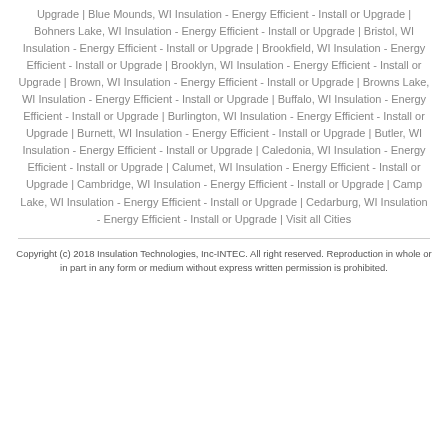Upgrade | Blue Mounds, WI Insulation - Energy Efficient - Install or Upgrade | Bohners Lake, WI Insulation - Energy Efficient - Install or Upgrade | Bristol, WI Insulation - Energy Efficient - Install or Upgrade | Brookfield, WI Insulation - Energy Efficient - Install or Upgrade | Brooklyn, WI Insulation - Energy Efficient - Install or Upgrade | Brown, WI Insulation - Energy Efficient - Install or Upgrade | Browns Lake, WI Insulation - Energy Efficient - Install or Upgrade | Buffalo, WI Insulation - Energy Efficient - Install or Upgrade | Burlington, WI Insulation - Energy Efficient - Install or Upgrade | Burnett, WI Insulation - Energy Efficient - Install or Upgrade | Butler, WI Insulation - Energy Efficient - Install or Upgrade | Caledonia, WI Insulation - Energy Efficient - Install or Upgrade | Calumet, WI Insulation - Energy Efficient - Install or Upgrade | Cambridge, WI Insulation - Energy Efficient - Install or Upgrade | Camp Lake, WI Insulation - Energy Efficient - Install or Upgrade | Cedarburg, WI Insulation - Energy Efficient - Install or Upgrade | Visit all Cities
Copyright (c) 2018 Insulation Technologies, Inc-INTEC. All right reserved. Reproduction in whole or in part in any form or medium without express written permission is prohibited.